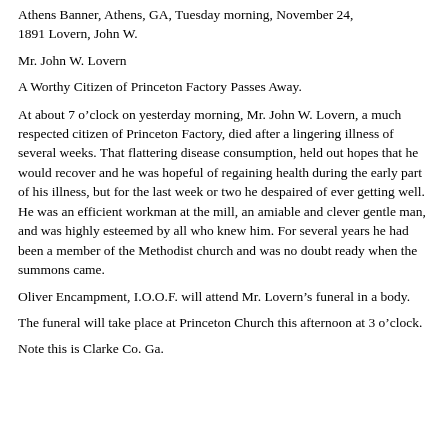Athens Banner, Athens, GA, Tuesday morning, November 24, 1891 Lovern, John W.
Mr. John W. Lovern
A Worthy Citizen of Princeton Factory Passes Away.
At about 7 o’clock on yesterday morning, Mr. John W. Lovern, a much respected citizen of Princeton Factory, died after a lingering illness of several weeks. That flattering disease consumption, held out hopes that he would recover and he was hopeful of regaining health during the early part of his illness, but for the last week or two he despaired of ever getting well. He was an efficient workman at the mill, an amiable and clever gentle man, and was highly esteemed by all who knew him. For several years he had been a member of the Methodist church and was no doubt ready when the summons came.
Oliver Encampment, I.O.O.F. will attend Mr. Lovern’s funeral in a body.
The funeral will take place at Princeton Church this afternoon at 3 o’clock.
Note this is Clarke Co. Ga.